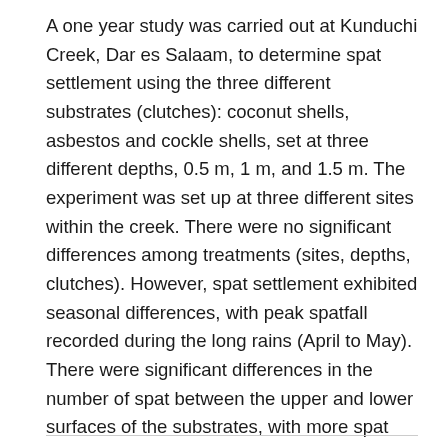A one year study was carried out at Kunduchi Creek, Dar es Salaam, to determine spat settlement using the three different substrates (clutches): coconut shells, asbestos and cockle shells, set at three different depths, 0.5 m, 1 m, and 1.5 m. The experiment was set up at three different sites within the creek. There were no significant differences among treatments (sites, depths, clutches). However, spat settlement exhibited seasonal differences, with peak spatfall recorded during the long rains (April to May). There were significant differences in the number of spat between the upper and lower surfaces of the substrates, with more spat preferring the underside. It was concluded that the Kunduchi Creek is a potential site for oyster farming. However, since the area is heavily used by artisanal fisherfolk, any future plans to establish mariculture operations would have to take into consideration potential conflicts with other user groups.